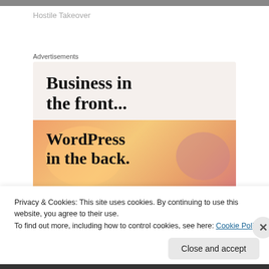[Figure (photo): Top image strip, partially visible photo]
Hostile Takeover
Advertisements
[Figure (infographic): Advertisement with text 'Business in the front...' on beige background and 'WordPress in the back.' on colorful gradient background with orange and pink blobs]
Privacy & Cookies: This site uses cookies. By continuing to use this website, you agree to their use.
To find out more, including how to control cookies, see here: Cookie Policy
Close and accept